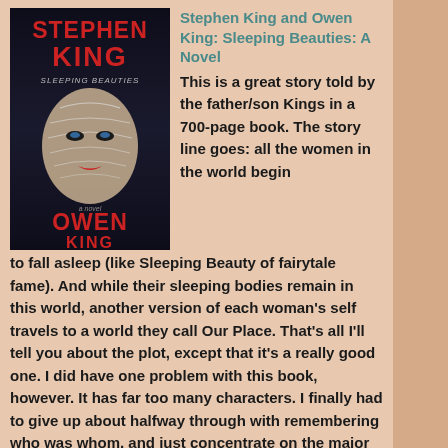[Figure (illustration): Book cover of Sleeping Beauties by Stephen King and Owen King — dark background with a face wrapped in white cobweb-like material]
Stephen King and Owen King: Sleeping Beauties: A Novel
This is a great story told by the father/son Kings in a 700-page book. The story line goes: all the women in the world begin to fall asleep (like Sleeping Beauty of fairytale fame). And while their sleeping bodies remain in this world, another version of each woman's self travels to a world they call Our Place. That's all I'll tell you about the plot, except that it's a really good one. I did have one problem with this book, however. It has far too many characters. I finally had to give up about halfway through with remembering who was whom, and just concentrate on the major actors--and there are quite of few of them. (****)
[Figure (illustration): Book cover of a book by Katherine Clark — blue cover with author name visible]
Katherine Clark: The